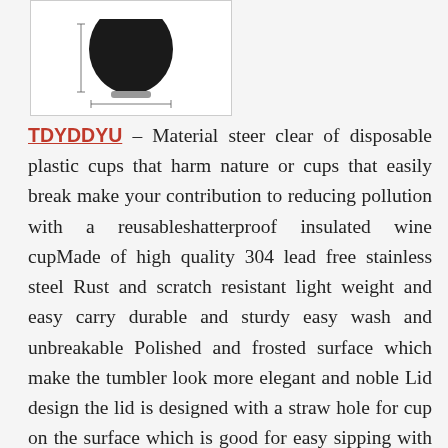[Figure (photo): Product photo of a black insulated wine cup/tumbler with a rounded bottom and flat base, shown with a dimension arrow indicating 2.4 in width]
TDYDDYU – Material steer clear of disposable plastic cups that harm nature or cups that easily break make your contribution to reducing pollution with a reusableshatterproof insulated wine cupMade of high quality 304 lead free stainless steel Rust and scratch resistant light weight and easy carry durable and sturdy easy wash and unbreakable Polished and frosted surface which make the tumbler look more elegant and noble Lid design the lid is designed with a straw hole for cup on the surface which is good for easy sipping with straws and helping reduce splashcomfortable in the hand portable and lightweight to take on your outdoor adventures Worry no more about your little adventurers breaking their smoothiejuicewater or milkshake cups Unbreakable and safe for kids teenagers and adults it is